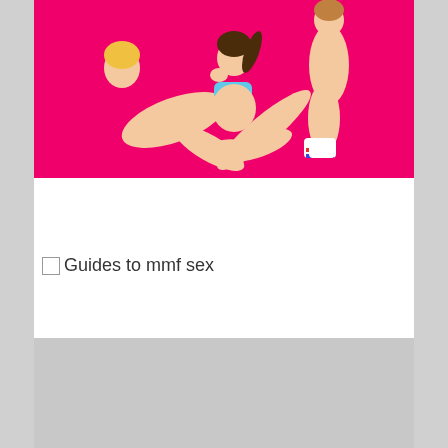[Figure (illustration): Cartoon illustration on a pink/magenta background showing three figures in an explicit pose. A blonde person reclines on the left, a brunette woman in a blue bikini top sits in the center, and a third figure kneels on the right wearing white socks with red and blue accents.]
Guides to mmf sex
[Figure (other): Gray placeholder rectangle at the bottom of the page, representing a broken or unloaded image.]